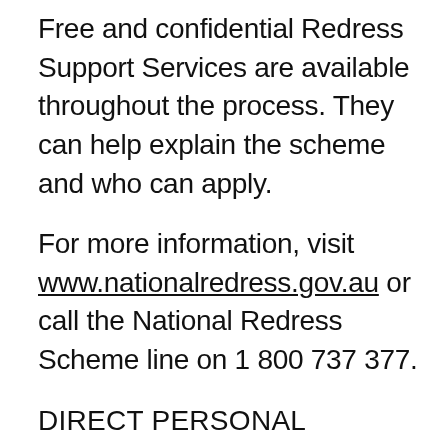Free and confidential Redress Support Services are available throughout the process. They can help explain the scheme and who can apply.
For more information, visit www.nationalredress.gov.au or call the National Redress Scheme line on 1 800 737 377.
DIRECT PERSONAL RESPONSE
If you have accepted an offer of Redress and would like to receive a Direct Personal Response from the Sisters of Charity of Australia, please email redress@rscoffice.com and include your phone number in the email if you would